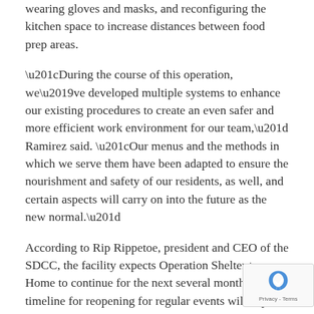wearing gloves and masks, and reconfiguring the kitchen space to increase distances between food prep areas.
“During the course of this operation, we’ve developed multiple systems to enhance our existing procedures to create an even safer and more efficient work environment for our team,” Ramirez said. “Our menus and the methods in which we serve them have been adapted to ensure the nourishment and safety of our residents, as well, and certain aspects will carry on into the future as the new normal.”
According to Rip Rippetoe, president and CEO of the SDCC, the facility expects Operation Shelter to Home to continue for the next several months. The timeline for reopening for regular events will depend on state and local guidelines, he added.
“We are in close coordination with the City to guarantee we can reopen for regular event activity at the appropriate time,” Rippetoe said. “There’s a strong of collaboration among everyone involved [in this e… As my colleagues and I remind each other, moment… adversity do not necessarily build character but they do